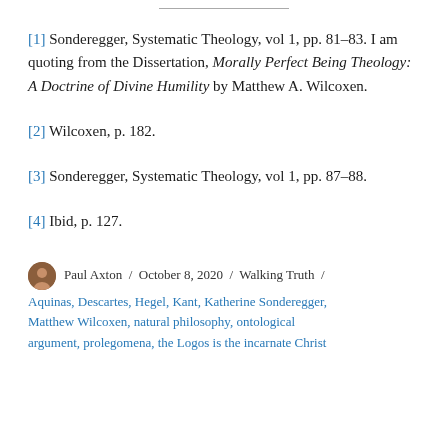[1] Sonderegger, Systematic Theology, vol 1, pp. 81-83. I am quoting from the Dissertation, Morally Perfect Being Theology: A Doctrine of Divine Humility by Matthew A. Wilcoxen.
[2] Wilcoxen, p. 182.
[3] Sonderegger, Systematic Theology, vol 1, pp. 87-88.
[4] Ibid, p. 127.
Paul Axton / October 8, 2020 / Walking Truth / Aquinas, Descartes, Hegel, Kant, Katherine Sonderegger, Matthew Wilcoxen, natural philosophy, ontological argument, prolegomena, the Logos is the incarnate Christ